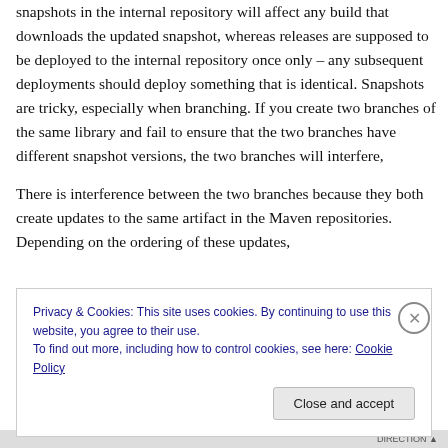snapshots in the internal repository will affect any build that downloads the updated snapshot, whereas releases are supposed to be deployed to the internal repository once only – any subsequent deployments should deploy something that is identical. Snapshots are tricky, especially when branching. If you create two branches of the same library and fail to ensure that the two branches have different snapshot versions, the two branches will interfere,
There is interference between the two branches because they both create updates to the same artifact in the Maven repositories. Depending on the ordering of these updates,
Privacy & Cookies: This site uses cookies. By continuing to use this website, you agree to their use.
To find out more, including how to control cookies, see here: Cookie Policy
Close and accept
DIRECTION ▲